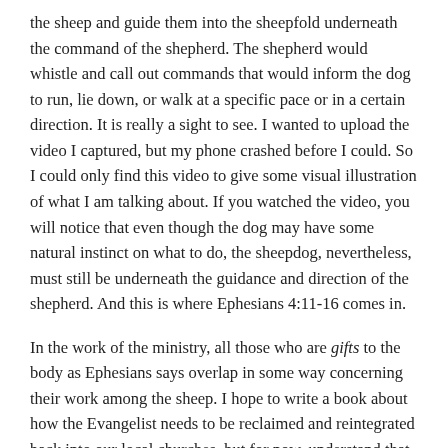the sheep and guide them into the sheepfold underneath the command of the shepherd. The shepherd would whistle and call out commands that would inform the dog to run, lie down, or walk at a specific pace or in a certain direction. It is really a sight to see. I wanted to upload the video I captured, but my phone crashed before I could. So I could only find this video to give some visual illustration of what I am talking about. If you watched the video, you will notice that even though the dog may have some natural instinct on what to do, the sheepdog, nevertheless, must still be underneath the guidance and direction of the shepherd. And this is where Ephesians 4:11-16 comes in.
In the work of the ministry, all those who are gifts to the body as Ephesians says overlap in some way concerning their work among the sheep. I hope to write a book about how the Evangelist needs to be reclaimed and reintegrated back into our local churches, but for now, understand that true Evangelists are not lone wolves. They are sheepdogs, just like the pastors and teachers, among the body that listen to the voice of The Good